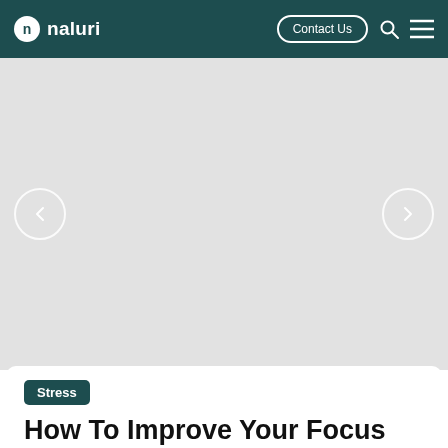naluri — Contact Us
[Figure (photo): Gray placeholder hero image with left and right navigation arrows]
Stress
How To Improve Your Focus